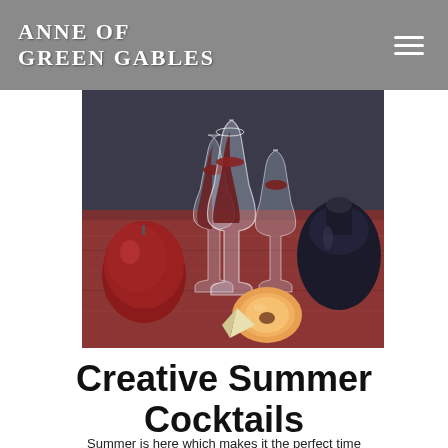Anne of Green Gables
[Figure (photo): Three decorative tall-stemmed glasses filled with deep red liquid, arranged on a dark red/burgundy textured surface alongside a whole red apple, a halved peach, and a wedge of something pale, against a dark blue/teal background.]
Creative Summer Cocktails
Summer is here which makes it the perfect time